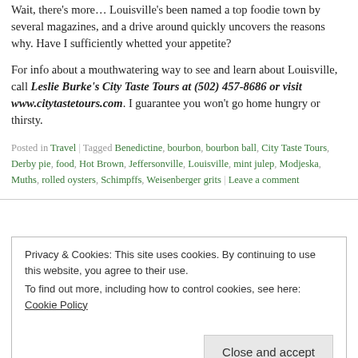Wait, there's more... Louisville's been named a top foodie town by several magazines, and a drive around quickly uncovers the reasons why. Have I sufficiently whetted your appetite?
For info about a mouthwatering way to see and learn about Louisville, call Leslie Burke's City Taste Tours at (502) 457-8686 or visit www.citytastetours.com. I guarantee you won't go home hungry or thirsty.
Posted in Travel | Tagged Benedictine, bourbon, bourbon ball, City Taste Tours, Derby pie, food, Hot Brown, Jeffersonville, Louisville, mint julep, Modjeska, Muths, rolled oysters, Schimpffs, Weisenberger grits | Leave a comment
Privacy & Cookies: This site uses cookies. By continuing to use this website, you agree to their use. To find out more, including how to control cookies, see here: Cookie Policy